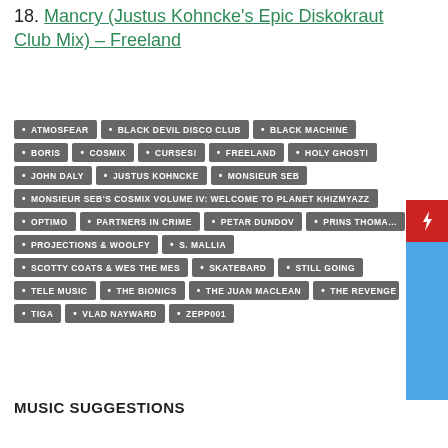18. Mancry (Justus Kohncke's Epic Diskokraut Club Mix) – Freeland
ATMOSFEAR
BLACK DEVIL DISCO CLUB
BLACK MACHINE
BORIS
COSMIX
CURSES!
FREELAND
HOLY GHOST!
JOHN DALY
JUSTUS KOHNCKE
MONSIEUR SEB
MONSIEUR SEB'S COSMIX VOLUME IV: WELCOME TO PLANET KHIZMYAZZ
OPTIMO
PARTNERS IN CRIME
PETAR DUNDOV
PRINS THOMAS
PROJECTIONS & WOOLFY
S. MALLIA
SCOTTY COATS & WES THE MES
SKATEBARD
STILL GOING
TELE MUSIC
THE BIONICS
THE JUAN MACLEAN
THE REVENGE
TIGA
VLAD NAYWARD
ZEPP001
MUSIC SUGGESTIONS